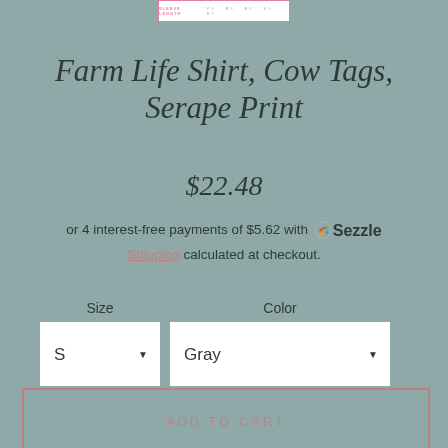[Figure (table-as-image): Sleeve length size chart bar at top of page with pink border]
Farm Life Shirt, Cow Tags, Serape Print
$22.48
or 4 interest-free payments of $5.62 with Sezzle Shipping calculated at checkout.
Size  Color  S [dropdown]  Gray [dropdown]
ADD TO CART